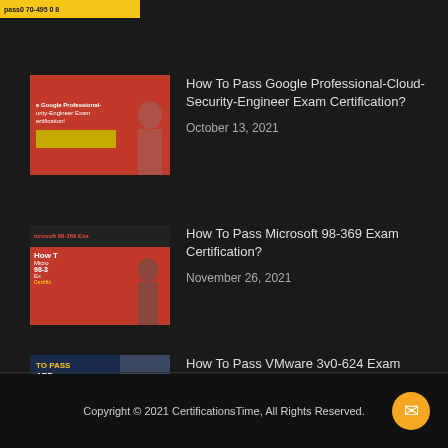[Figure (illustration): Partial thumbnail with yellow background showing exam certification text]
How To Pass Google Professional-Cloud-Security-Engineer Exam Certification?
October 13, 2021
How To Pass Microsoft 98-369 Exam Certification?
November 26, 2021
How To Pass VMware 3v0-624 Exam Certification?
October 16, 2021
Copyright © 2021 CertificationsTime, All Rights Reserved.